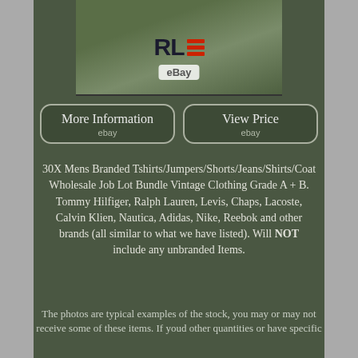[Figure (photo): Olive green sweatshirt with RLE Polo Jeans Company logo, eBay watermark overlay]
More Information
ebay
View Price
ebay
30X Mens Branded Tshirts/Jumpers/Shorts/Jeans/Shirts/Coat Wholesale Job Lot Bundle Vintage Clothing Grade A + B. Tommy Hilfiger, Ralph Lauren, Levis, Chaps, Lacoste, Calvin Klien, Nautica, Adidas, Nike, Reebok and other brands (all similar to what we have listed). Will NOT include any unbranded Items.
The photos are typical examples of the stock, you may or may not receive some of these items. If youd other quantities or have specific